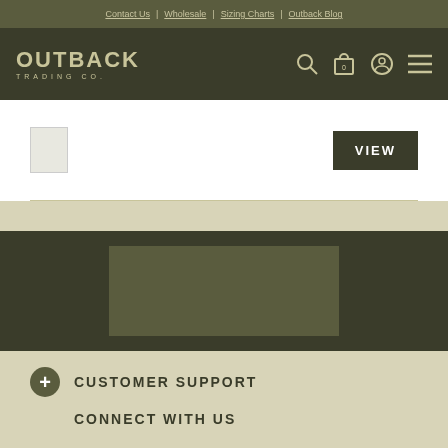Contact Us | Wholesale | Sizing Charts | Outback Blog
[Figure (logo): Outback Trading Co. logo — text-based logo with OUTBACK in large letters and TRADING CO. below]
[Figure (screenshot): Product thumbnail image placeholder with VIEW button]
[Figure (screenshot): Dark section with a video/image placeholder rectangle]
CUSTOMER SUPPORT
CONNECT WITH US